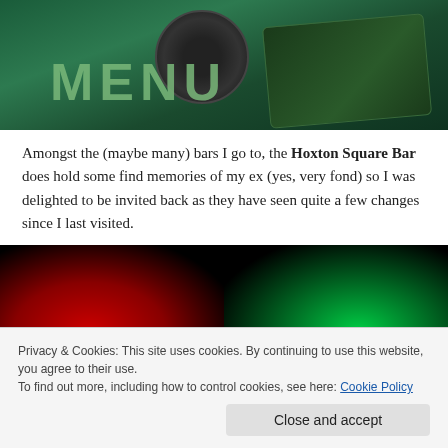[Figure (photo): Photo of a dark green surface with a circular disc/record and a dark green menu card with 'MENU' text and website URL visible]
Amongst the (maybe many) bars I go to, the Hoxton Square Bar does hold some find memories of my ex (yes, very fond) so I was delighted to be invited back as they have seen quite a few changes since I last visited.
[Figure (photo): Left half: dark photo with red lighting showing flames or foliage lit in red]
[Figure (photo): Right half: dark photo with green lighting showing foliage or plants lit in green]
Privacy & Cookies: This site uses cookies. By continuing to use this website, you agree to their use.
To find out more, including how to control cookies, see here: Cookie Policy